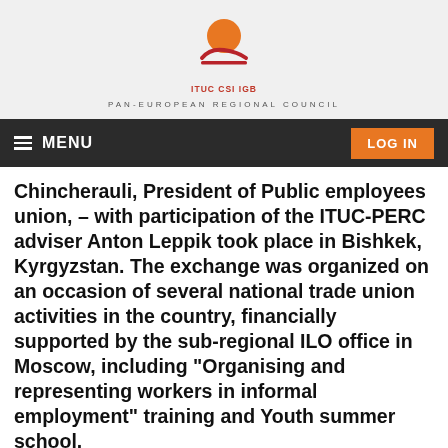[Figure (logo): ITUC CSI IGB logo with orange circle and red swoosh, text 'ITUC CSI IGB' below]
PAN-EUROPEAN REGIONAL COUNCIL
MENU
LOG IN
Chincherauli, President of Public employees union, – with participation of the ITUC-PERC adviser Anton Leppik took place in Bishkek, Kyrgyzstan. The exchange was organized on an occasion of several national trade union activities in the country, financially supported by the sub-regional ILO office in Moscow, including “Organising and representing workers in informal employment” training and Youth summer school.